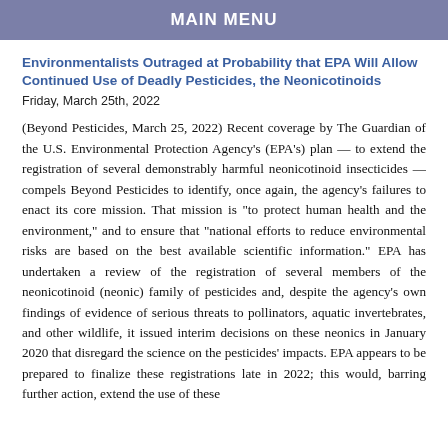MAIN MENU
Environmentalists Outraged at Probability that EPA Will Allow Continued Use of Deadly Pesticides, the Neonicotinoids
Friday, March 25th, 2022
(Beyond Pesticides, March 25, 2022) Recent coverage by The Guardian of the U.S. Environmental Protection Agency's (EPA's) plan — to extend the registration of several demonstrably harmful neonicotinoid insecticides — compels Beyond Pesticides to identify, once again, the agency's failures to enact its core mission. That mission is “to protect human health and the environment,” and to ensure that “national efforts to reduce environmental risks are based on the best available scientific information.” EPA has undertaken a review of the registration of several members of the neonicotinoid (neonic) family of pesticides and, despite the agency’s own findings of evidence of serious threats to pollinators, aquatic invertebrates, and other wildlife, it issued interim decisions on these neonics in January 2020 that disregard the science on the pesticides’ impacts. EPA appears to be prepared to finalize these registrations late in 2022; this would, barring further action, extend the use of these